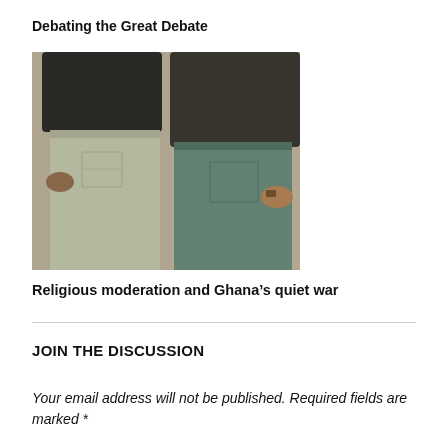Debating the Great Debate
[Figure (photo): Photograph showing two people from behind, both wearing jeans and dark tops, standing close together against a wall.]
Religious moderation and Ghana’s quiet war
JOIN THE DISCUSSION
Your email address will not be published. Required fields are marked *